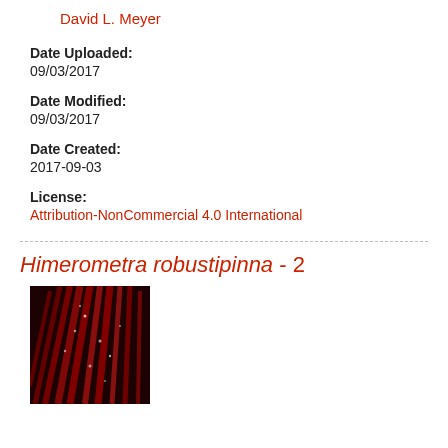David L. Meyer
Date Uploaded:
09/03/2017
Date Modified:
09/03/2017
Date Created:
2017-09-03
License:
Attribution-NonCommercial 4.0 International
Himerometra robustipinna - 2
[Figure (photo): Close-up photograph of Himerometra robustipinna showing red elongated arms/pinnules against a dark background]